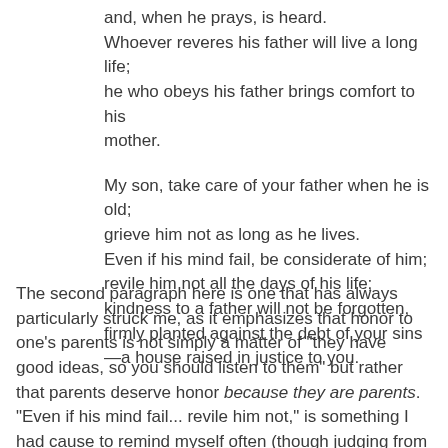and, when he prays, is heard.
Whoever reveres his father will live a long life;
he who obeys his father brings comfort to his mother.
My son, take care of your father when he is old;
grieve him not as long as he lives.
Even if his mind fail, be considerate of him;
revile him not all the days of his life;
kindness to a father will not be forgotten,
firmly planted against the debt of your sins
—a house raised in justice to you.
The second paragraph here is one that has always particularly struck me, as it emphasizes that honor to one's parents is not simply a matter of "they have good ideas, so you should listen to them" but rather that parents deserve honor because they are parents. "Even if his mind fail... revile him not," is something I had cause to remind myself often (though judging from my actions, not always often enough) during the time we spent caring for my Dad's mother in her last days -- a women who wanted things done